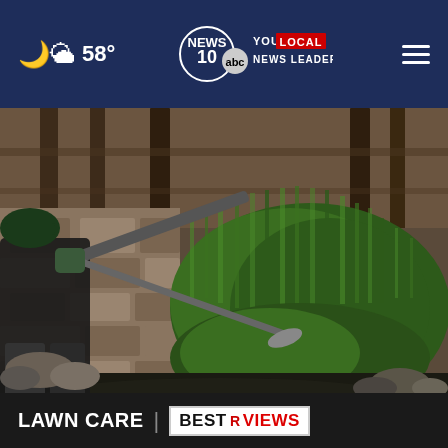☁ 58° | NEWS 10 ABC YOUR LOCAL NEWS LEADER | ☰
[Figure (photo): A person using a string trimmer/weed whacker to trim overgrown green shrubs and grass near a fence and stone/brick wall outdoors.]
LAWN CARE | BESTREVIEWS